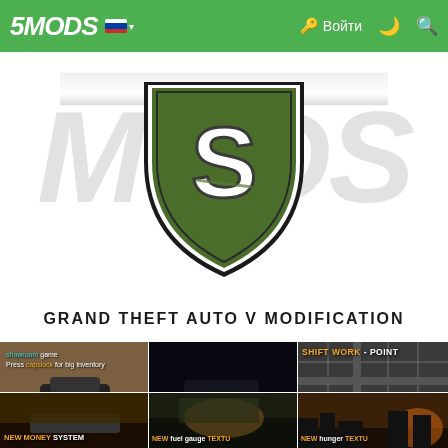5MODS | Войти
[Figure (logo): 5MODS website logo with GTA-style shield bearing a green background and white 'S' letter. Large stylized 'MODS' text partially visible behind the shield. White banner ribbon at top.]
GRAND THEFT AUTO V MODIFICATION
[Figure (screenshot): GTA V gameplay screenshot showing a vehicle on a road with HUD text overlay reading 'showroom' and 'Press [capslock] for big inventory'. Nighttime desert scene.]
[Figure (screenshot): GTA V gameplay screenshot showing a dark car with headlights on a dark road at night.]
[Figure (screenshot): GTA V map/mini-map screenshot with 'SHIFT WORK - POINT' text overlay in yellow/orange gaming font with 'X' marker.]
[Figure (screenshot): GTA V gameplay screenshot with 'NEW MONEY SYSTEM' text overlay in yellow/orange gaming font.]
[Figure (screenshot): GTA V gameplay screenshot with 'NEW FUEL GAUGE TEXTU...' text overlay in yellow/orange gaming font.]
[Figure (screenshot): GTA V gameplay screenshot with 'NEW HUNGER TEXTU...' text overlay in yellow/orange gaming font. City skyline at sunset.]